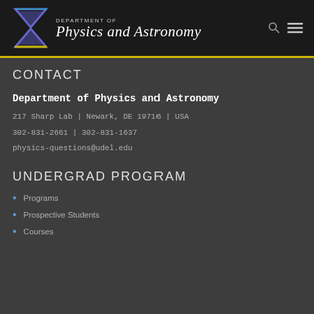DEPARTMENT OF Physics and Astronomy
CONTACT
Department of Physics and Astronomy
217 Sharp Lab | Newark, DE 19716 | USA
302-831-2661 | 302-831-1637
physics-questions@udel.edu
UNDERGRAD PROGRAM
Programs
Prospective Students
Courses